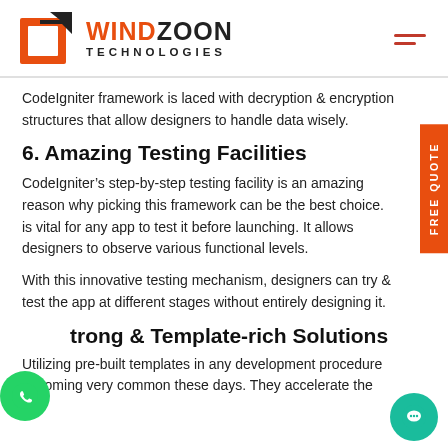WindZoon Technologies
CodeIgniter framework is laced with decryption & encryption structures that allow designers to handle data wisely.
6. Amazing Testing Facilities
CodeIgniter’s step-by-step testing facility is an amazing reason why picking this framework can be the best choice. is vital for any app to test it before launching. It allows designers to observe various functional levels.
With this innovative testing mechanism, designers can try & test the app at different stages without entirely designing it.
trong & Template-rich Solutions
Utilizing pre-built templates in any development procedure becoming very common these days. They accelerate the